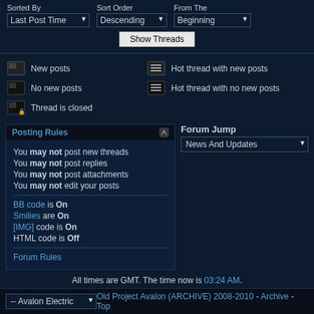Sorted By: Last Post Time | Sort Order: Descending | From The: Beginning
Show Threads
New posts
Hot thread with new posts
No new posts
Hot thread with no new posts
Thread is closed
Posting Rules
You may not post new threads
You may not post replies
You may not post attachments
You may not edit your posts
BB code is On
Smilies are On
[IMG] code is On
HTML code is Off
Forum Rules
Forum Jump
News And Updates
All times are GMT. The time now is 03:24 AM.
-- Avalon Electric
Old Project Avalon (ARCHIVE) 2008-2010 - Archive - Top
Powered by vBulletin® Version 3.8.4
Copyright ©2000 - 2022, Jelsoft Enterprises Ltd.
Project Avalon